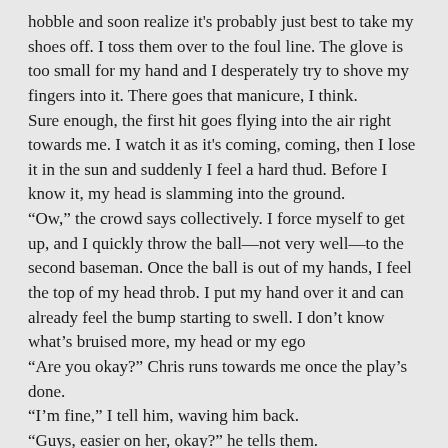hobble and soon realize it's probably just best to take my shoes off. I toss them over to the foul line. The glove is too small for my hand and I desperately try to shove my fingers into it. There goes that manicure, I think.
Sure enough, the first hit goes flying into the air right towards me. I watch it as it's coming, coming, then I lose it in the sun and suddenly I feel a hard thud. Before I know it, my head is slamming into the ground.
“Ow,” the crowd says collectively. I force myself to get up, and I quickly throw the ball—not very well—to the second baseman. Once the ball is out of my hands, I feel the top of my head throb. I put my hand over it and can already feel the bump starting to swell. I don’t know what’s bruised more, my head or my ego
“Are you okay?” Chris runs towards me once the play’s done.
“I’m fine,” I tell him, waving him back.
“Guys, easier on her, okay?” he tells them.
“I can take it,” I yell back with my hands on my hips.